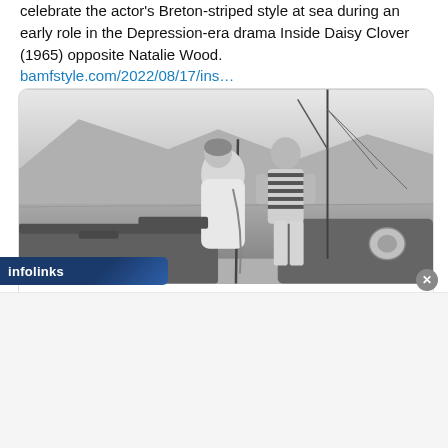celebrate the actor's Breton-striped style at sea during an early role in the Depression-era drama Inside Daisy Clover (1965) opposite Natalie Wood. bamfstyle.com/2022/08/17/ins…
[Figure (photo): Black and white photograph of two people on a sailboat, one wearing a striped top, on the water with mountains in the background. Embedded in a social media card preview.]
bamfstyle.com
Inside Daisy Clover: Robert Redford's Breton Stripes at Sea » BAMF Style
infolinks
✕